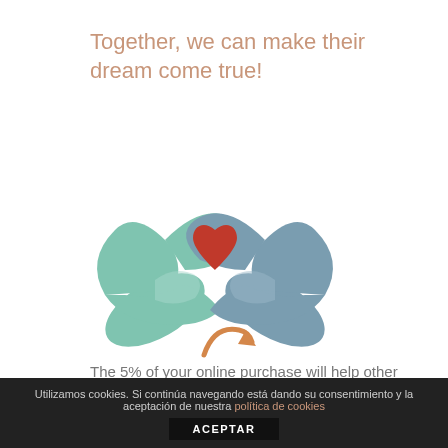Together, we can make their dream come true!
[Figure (illustration): Two hands forming a heart shape with fingers — one teal/green hand from the left and one blue-grey hand from the right, with a red heart in the center]
The 5% of your online purchase will help other people all over the world.
How we do it!
[Figure (illustration): Partial orange circular arrow icon visible at bottom of page]
Utilizamos cookies. Si continúa navegando está dando su consentimiento y la aceptación de nuestra política de cookies
ACEPTAR